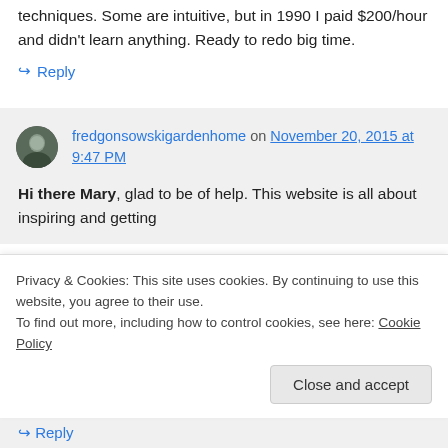techniques. Some are intuitive, but in 1990 I paid $200/hour and didn't learn anything. Ready to redo big time.
↪ Reply
fredgonsowskigardenhome on November 20, 2015 at 9:47 PM
Hi there Mary, glad to be of help. This website is all about inspiring and getting
Privacy & Cookies: This site uses cookies. By continuing to use this website, you agree to their use.
To find out more, including how to control cookies, see here: Cookie Policy
Close and accept
↪ Reply